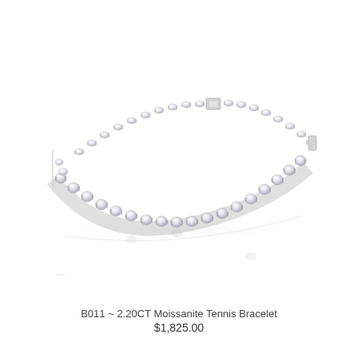[Figure (photo): A diamond (moissanite) tennis bracelet shown in a curved open position on a white background with reflection, featuring a continuous line of round brilliant-cut stones set in silver/white gold prong settings.]
B011 ~ 2.20CT Moissanite Tennis Bracelet $1,825.00